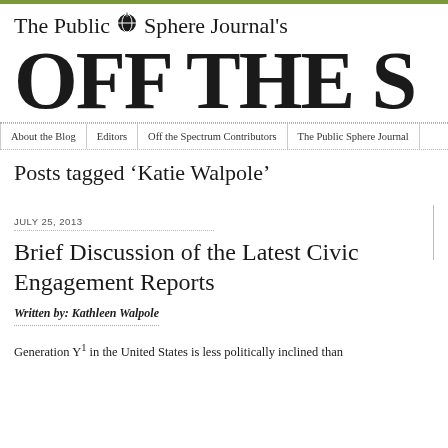The Public Sphere Journal's OFF THE S
About the Blog | Editors | Off the Spectrum Contributors | The Public Sphere Journal
Posts tagged ‘Katie Walpole’
JULY 25, 2013
Brief Discussion of the Latest Civic Engagement Reports
Written by: Kathleen Walpole
Generation Y¹ in the United States is less politically inclined than